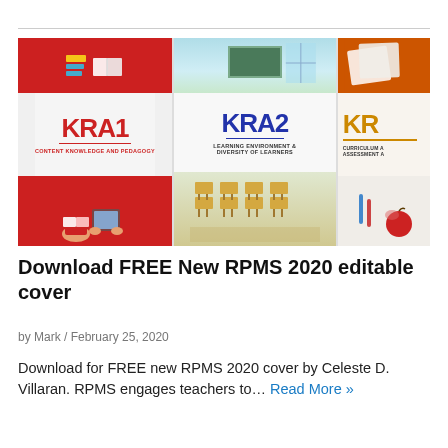[Figure (illustration): Composite image showing three KRA (Key Result Area) covers: KRA1 Content Knowledge and Pedagogy (red theme with books and reader), KRA2 Learning Environment & Diversity of Learners (blue theme with classroom), and KRA3 partially visible (orange theme with curriculum and assessment)]
Download FREE New RPMS 2020 editable cover
by Mark / February 25, 2020
Download for FREE new RPMS 2020 cover by Celeste D. Villaran. RPMS engages teachers to… Read More »